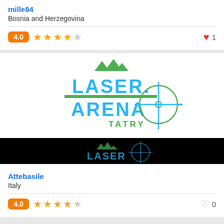mille84
Bosnia and Herzegovina
4.0 ★★★★☆ ♥ 1
[Figure (logo): Laser Arena Tatry logo with mountains, blue and green text, crosshair/scope graphic]
[Figure (screenshot): Dark banner with partial Laser Arena logo on black background]
Attebasile
Italy
4.0 ★★★★☆ ♡ 0